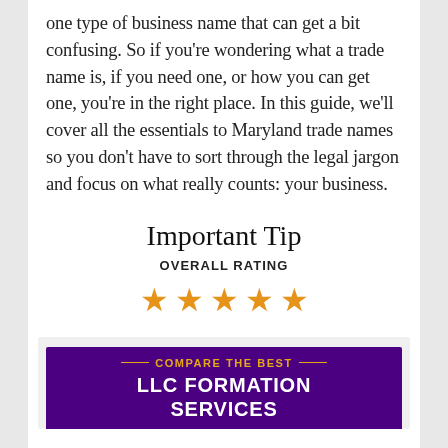one type of business name that can get a bit confusing. So if you're wondering what a trade name is, if you need one, or how you can get one, you're in the right place. In this guide, we'll cover all the essentials to Maryland trade names so you don't have to sort through the legal jargon and focus on what really counts: your business.
Important Tip
OVERALL RATING
[Figure (infographic): Five orange star rating icons displayed in a row]
[Figure (infographic): Purple banner reading COMPARE THE BEST LLC FORMATION SERVICES with gold decorative lines]